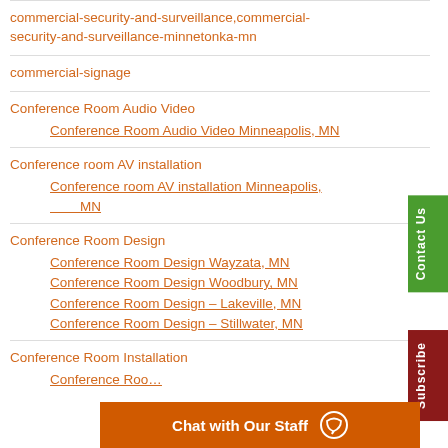commercial-security-and-surveillance,commercial-security-and-surveillance-minnetonka-mn
commercial-signage
Conference Room Audio Video
  Conference Room Audio Video Minneapolis, MN
Conference room AV installation
  Conference room AV installation Minneapolis, MN
Conference Room Design
  Conference Room Design Wayzata, MN
  Conference Room Design Woodbury, MN
  Conference Room Design – Lakeville, MN
  Conference Room Design – Stillwater, MN
Conference Room Installation
  Conference Roo…